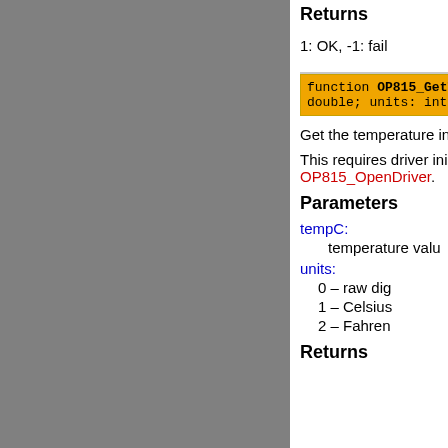Returns
1: OK, -1: fail
function OP815_GetTe double; units: integ
Get the temperature in
This requires driver ini OP815_OpenDriver.
Parameters
tempC:
temperature valu
units:
0 – raw dig
1 – Celsius
2 – Fahren
Returns